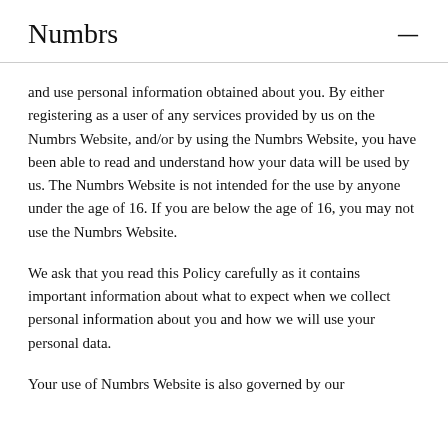Numbrs
and use personal information obtained about you. By either registering as a user of any services provided by us on the Numbrs Website, and/or by using the Numbrs Website, you have been able to read and understand how your data will be used by us. The Numbrs Website is not intended for the use by anyone under the age of 16. If you are below the age of 16, you may not use the Numbrs Website.
We ask that you read this Policy carefully as it contains important information about what to expect when we collect personal information about you and how we will use your personal data.
Your use of Numbrs Website is also governed by our